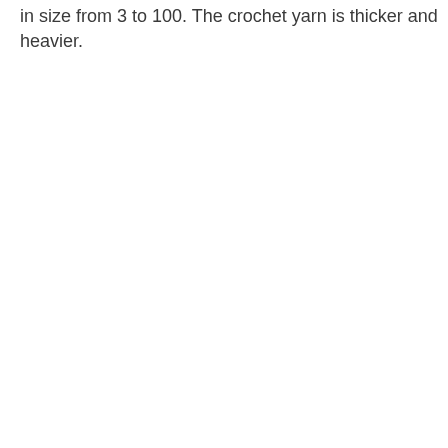in size from 3 to 100. The crochet yarn is thicker and heavier.